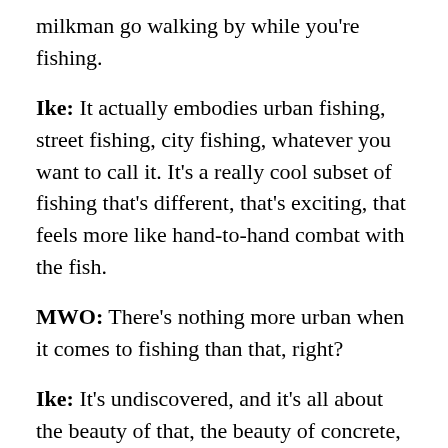milkman go walking by while you're fishing.
Ike: It actually embodies urban fishing, street fishing, city fishing, whatever you want to call it. It's a really cool subset of fishing that's different, that's exciting, that feels more like hand-to-hand combat with the fish.
MWO: There's nothing more urban when it comes to fishing than that, right?
Ike: It's undiscovered, and it's all about the beauty of that, the beauty of concrete, the beauty of noise while still being in nature and catching a living fish. It's such a cool thing, and every year more people are finding it. But it's still an undiscovered thing.